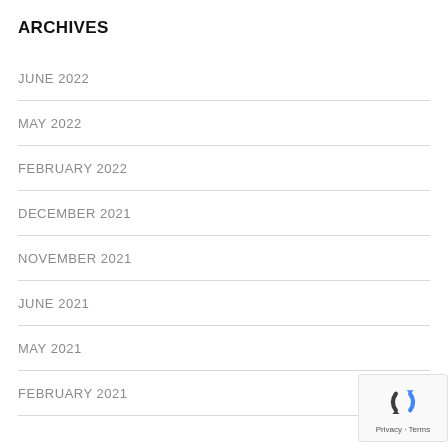ARCHIVES
JUNE 2022
MAY 2022
FEBRUARY 2022
DECEMBER 2021
NOVEMBER 2021
JUNE 2021
MAY 2021
FEBRUARY 2021
[Figure (logo): reCAPTCHA badge with Privacy and Terms links]